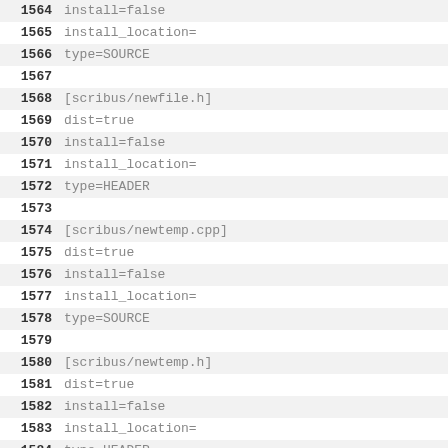1564 install=false
1565 install_location=
1566 type=SOURCE
1567
1568 [scribus/newfile.h]
1569 dist=true
1570 install=false
1571 install_location=
1572 type=HEADER
1573
1574 [scribus/newtemp.cpp]
1575 dist=true
1576 install=false
1577 install_location=
1578 type=SOURCE
1579
1580 [scribus/newtemp.h]
1581 dist=true
1582 install=false
1583 install_location=
1584 type=HEADER